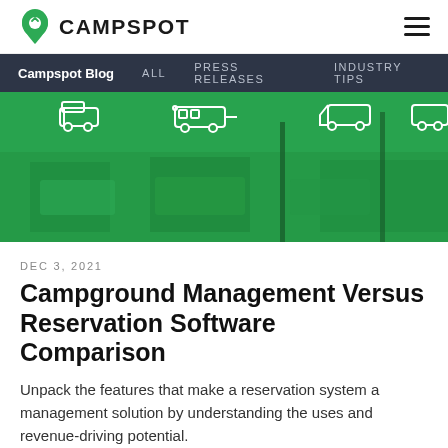CAMPSPOT
[Figure (illustration): Green-tinted hero banner showing campground with RVs and camping vehicles, with white icon outlines of RV types at top]
DEC 3, 2021
Campground Management Versus Reservation Software Comparison
Unpack the features that make a reservation system a management solution by understanding the uses and revenue-driving potential.